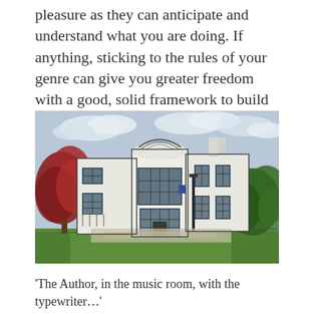pleasure as they can anticipate and understand what you are doing. If anything, sticking to the rules of your genre can give you greater freedom with a good, solid framework to build upon.
[Figure (photo): Photograph of a white Art Deco style house with curved cylindrical central section featuring large multi-pane windows, flanked by rectangular wings, surrounded by green lawn, red-leafed tree on the left, and green shrubs on the right, under a partly cloudy sky.]
'The Author, in the music room, with the typewriter…'